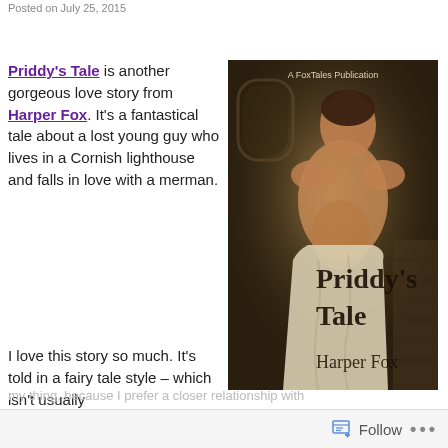Posted on July 25, 2015
Priddy's Tale is another gorgeous love story from Harper Fox. It's a fantastical tale about a lost young guy who lives in a Cornish lighthouse and falls in love with a merman.
[Figure (illustration): Book cover for 'Priddy's Tale' by Harper Fox, A FoxTales Publication. Shows a shirtless muscular man wrapped in a white cloth/towel, in a dark atmospheric setting. Large serif text reads 'Priddy's Tale' and 'Harper Fox'.]
I love this story so much. It's told in a fairy tale style – which isn't usually my thing, because I prefer a closer relationship with
Follow ...